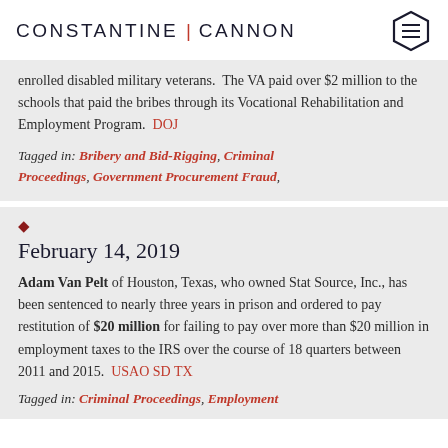CONSTANTINE | CANNON
enrolled disabled military veterans. The VA paid over $2 million to the schools that paid the bribes through its Vocational Rehabilitation and Employment Program. DOJ
Tagged in: Bribery and Bid-Rigging, Criminal Proceedings, Government Procurement Fraud,
•
February 14, 2019
Adam Van Pelt of Houston, Texas, who owned Stat Source, Inc., has been sentenced to nearly three years in prison and ordered to pay restitution of $20 million for failing to pay over more than $20 million in employment taxes to the IRS over the course of 18 quarters between 2011 and 2015. USAO SD TX
Tagged in: Criminal Proceedings, Employment Tax Fraud,